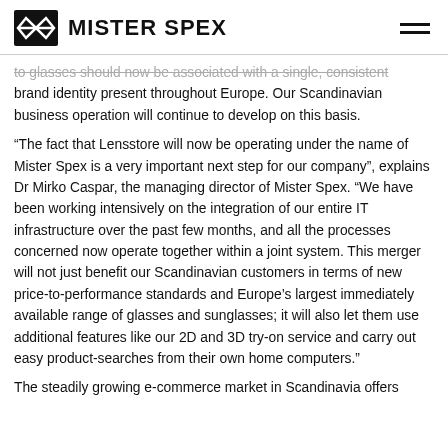MISTER SPEX
to glasses should now be associated with a single, consistent brand identity present throughout Europe. Our Scandinavian business operation will continue to develop on this basis.
“The fact that Lensstore will now be operating under the name of Mister Spex is a very important next step for our company”, explains Dr Mirko Caspar, the managing director of Mister Spex. “We have been working intensively on the integration of our entire IT infrastructure over the past few months, and all the processes concerned now operate together within a joint system. This merger will not just benefit our Scandinavian customers in terms of new price-to-performance standards and Europe’s largest immediately available range of glasses and sunglasses; it will also let them use additional features like our 2D and 3D try-on service and carry out easy product-searches from their own home computers.”
The steadily growing e-commerce market in Scandinavia offers